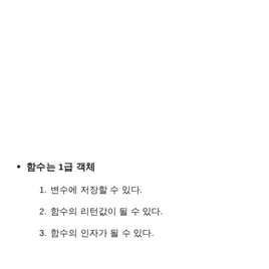함수는 1급 객체
1. 변수에 저장할 수 있다.
2. 함수의 리턴값이 될 수 있다.
3. 함수의 인자가 될 수 있다.